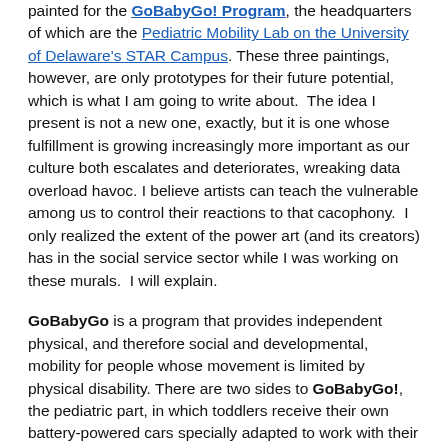painted for the GoBabyGo! Program, the headquarters of which are the Pediatric Mobility Lab on the University of Delaware's STAR Campus. These three paintings, however, are only prototypes for their future potential, which is what I am going to write about.  The idea I present is not a new one, exactly, but it is one whose fulfillment is growing increasingly more important as our culture both escalates and deteriorates, wreaking data overload havoc. I believe artists can teach the vulnerable among us to control their reactions to that cacophony.  I only realized the extent of the power art (and its creators) has in the social service sector while I was working on these murals.  I will explain.
GoBabyGo is a program that provides independent physical, and therefore social and developmental, mobility for people whose movement is limited by physical disability. There are two sides to GoBabyGo!, the pediatric part, in which toddlers receive their own battery-powered cars specially adapted to work with their abilities (while combating their disabilities) in